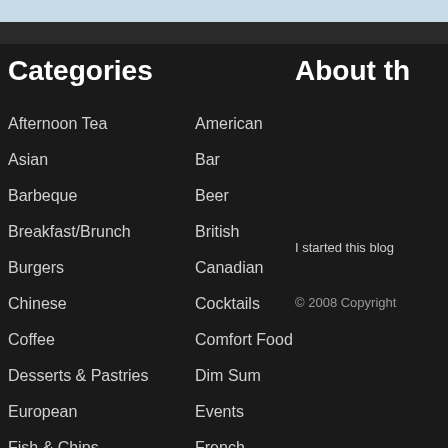Categories
About th
Afternoon Tea
American
Asian
Bar
Barbeque
Beer
Breakfast/Brunch
British
Burgers
Canadian
Chinese
Cocktails
Coffee
Comfort Food
Desserts & Pastries
Dim Sum
European
Events
Fish & Chips
French
Giveaway
Greek
I started this blog
© 2008 Copyright